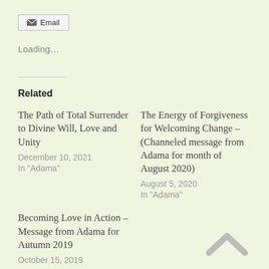Email
Loading…
Related
The Path of Total Surrender to Divine Will, Love and Unity
December 10, 2021
In "Adama"
The Energy of Forgiveness for Welcoming Change – (Channeled message from Adama for month of August 2020)
August 5, 2020
In "Adama"
Becoming Love in Action – Message from Adama for Autumn 2019
October 15, 2019